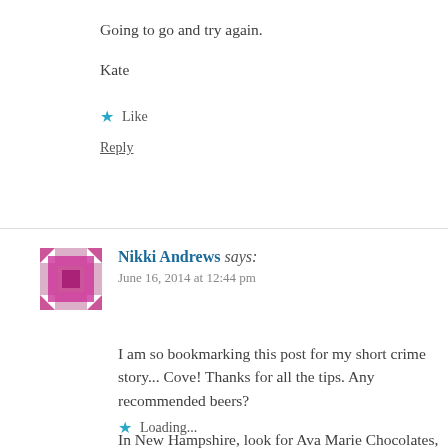Going to go and try again.
Kate
★ Like
Reply
Nikki Andrews says:
June 16, 2014 at 12:44 pm
I am so bookmarking this post for my short crime story... Cove! Thanks for all the tips. Any recommended beers?
In New Hampshire, look for Ava Marie Chocolates, Le... Lane's Bumbleberry Pie.
Loading...